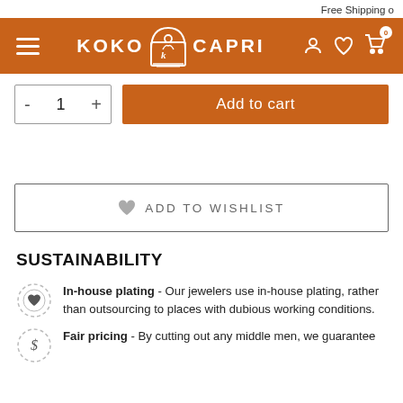Free Shipping o
[Figure (logo): Koko Capri brand navigation bar with hamburger menu, logo with stylized figure inside arch, and user/wishlist/cart icons]
- 1 + | Add to cart
♥ ADD TO WISHLIST
SUSTAINABILITY
In-house plating - Our jewelers use in-house plating, rather than outsourcing to places with dubious working conditions.
Fair pricing - By cutting out any middle men, we guarantee